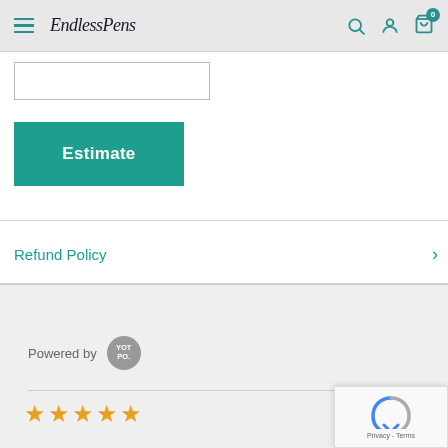Endless Pens — navigation header with hamburger menu, logo, search, account, and cart icons
[Figure (screenshot): Input text box for zip/postal code entry]
[Figure (other): Teal 'Estimate' button]
Refund Policy
Powered by YOTPO
[Figure (other): Five empty yellow star rating icons]
[Figure (other): reCAPTCHA widget with Privacy - Terms text]